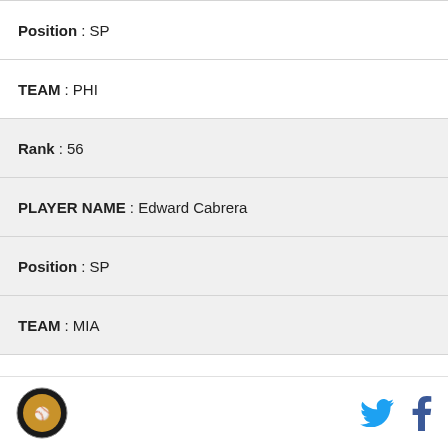Position : SP
TEAM : PHI
Rank : 56
PLAYER NAME : Edward Cabrera
Position : SP
TEAM : MIA
Rank : 57
PLAYER NAME : Trevor Rogers
Position : SP
TEAM : MIA
Rank : 58
logo | Twitter | Facebook